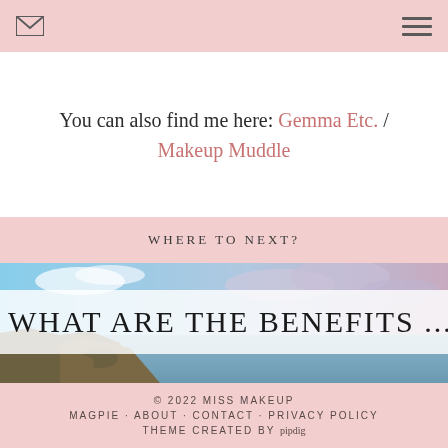[Navigation bar with mail icon and menu icon]
You can also find me here: Gemma Etc. / Makeup Muddle
WHERE TO NEXT?
[Figure (photo): Coastal landscape with rocky cliffs, ocean waves, blue sky and clouds]
WHAT ARE THE BENEFITS ...
© 2022 MISS MAKEUP
MAGPIE · ABOUT · CONTACT · PRIVACY POLICY
THEME CREATED BY pipdig